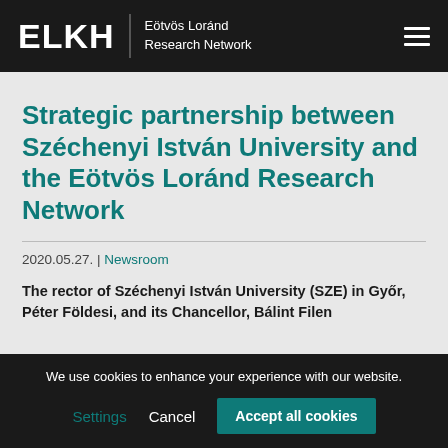ELKH | Eötvös Loránd Research Network
Strategic partnership between Széchenyi István University and the Eötvös Loránd Research Network
2020.05.27. | Newsroom
The rector of Széchenyi István University (SZE) in Győr, Péter Földesi, and its Chancellor, Bálint Filen
We use cookies to enhance your experience with our website.